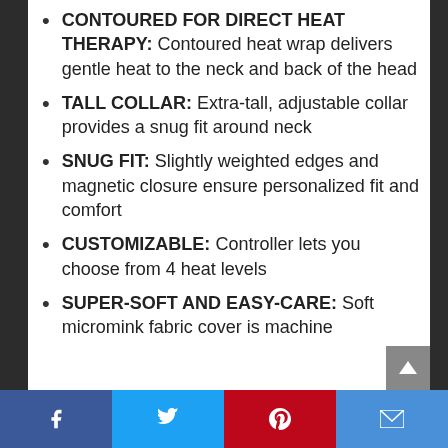CONTOURED FOR DIRECT HEAT THERAPY: Contoured heat wrap delivers gentle heat to the neck and back of the head
TALL COLLAR: Extra-tall, adjustable collar provides a snug fit around neck
SNUG FIT: Slightly weighted edges and magnetic closure ensure personalized fit and comfort
CUSTOMIZABLE: Controller lets you choose from 4 heat levels
SUPER-SOFT AND EASY-CARE: Soft micromink fabric cover is machine